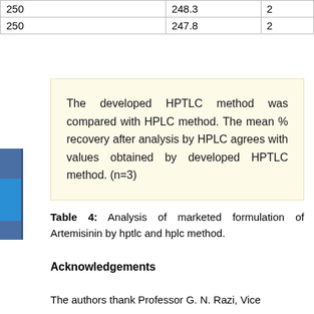| 250 | 248.3 | 2 |
| 250 | 247.8 | 2 |
The developed HPTLC method was compared with HPLC method. The mean % recovery after analysis by HPLC agrees with values obtained by developed HPTLC method. (n=3)
Table 4: Analysis of marketed formulation of Artemisinin by hptlc and hplc method.
Acknowledgements
The authors thank Professor G. N. Razi, Vice